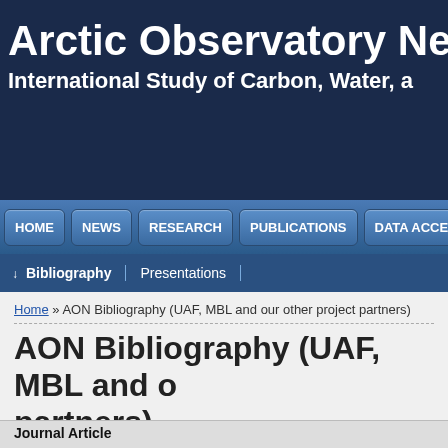Arctic Observatory Network
International Study of Carbon, Water, a
HOME | NEWS | RESEARCH | PUBLICATIONS | DATA ACCESS
Bibliography | Presentations
Home » AON Bibliography (UAF, MBL and our other project partners)
AON Bibliography (UAF, MBL and our other partners)
Author Title [ Type ▲ ] Year
Filters: Author is Bret-Harte, M. S.  [Clear All Filters]
Journal Article